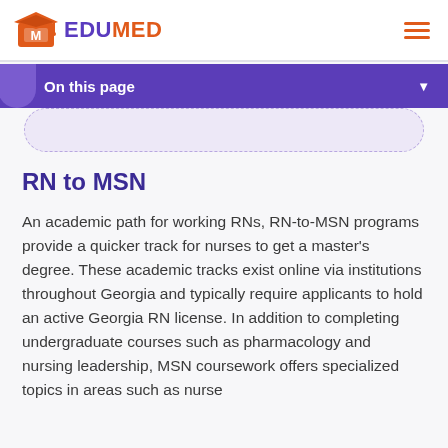EDUMED
On this page
RN to MSN
An academic path for working RNs, RN-to-MSN programs provide a quicker track for nurses to get a master's degree. These academic tracks exist online via institutions throughout Georgia and typically require applicants to hold an active Georgia RN license. In addition to completing undergraduate courses such as pharmacology and nursing leadership, MSN coursework offers specialized topics in areas such as nurse